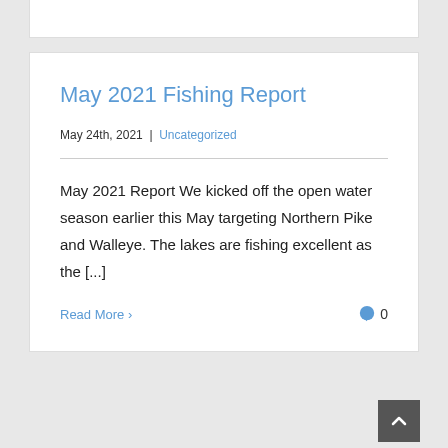May 2021 Fishing Report
May 24th, 2021  |  Uncategorized
May 2021 Report We kicked off the open water season earlier this May targeting Northern Pike and Walleye. The lakes are fishing excellent as the [...]
Read More >